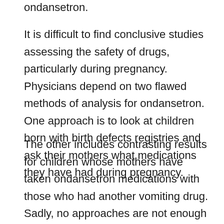ondansetron.
It is difficult to find conclusive studies assessing the safety of drugs, particularly during pregnancy. Physicians depend on two flawed methods of analysis for ondansetron. One approach is to look at children born with birth defects registries and ask their mothers what medications they have had during pregnancy.
The other includes contrasting results for children whose mothers have taken ondansetron medications with those who had another vomiting drug. Sadly, no approaches are not enough to provide us all the answers we require.